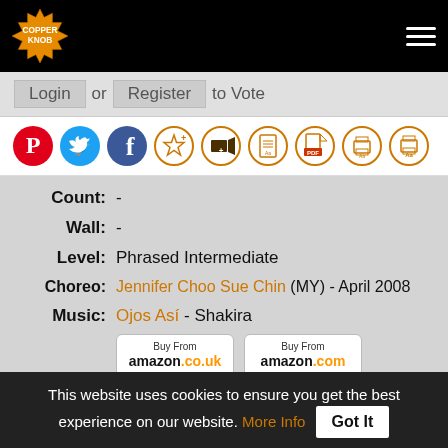Copper Knob - Login or Register to Vote
[Figure (infographic): Social and action icons row: Pinterest, Twitter, Facebook, Favorites star, Add video, Doc, PDF, Print, Print Aa]
Count: -
Wall: -
Level: Phrased Intermediate
Choreo: Jennifer Choo Sue Chin (MY) - April 2008
Music: Ojos Así - Shakira
[Figure (infographic): Two Amazon purchase buttons: Buy From amazon.co.uk and Buy From amazon.com]
This website uses cookies to ensure you get the best experience on our website. More Info Got It